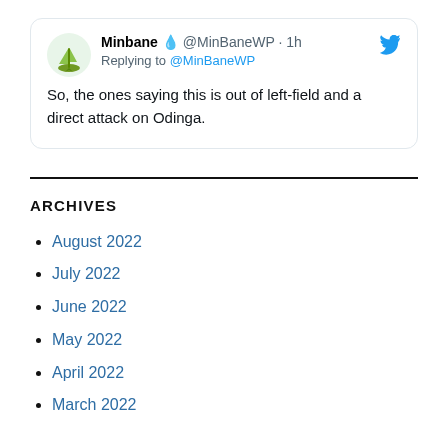[Figure (screenshot): Tweet card from @MinBaneWP (Minbane) replying to @MinBaneWP, posted 1h ago. Text: 'So, the ones saying this is out of left-field and a direct attack on Odinga.']
ARCHIVES
August 2022
July 2022
June 2022
May 2022
April 2022
March 2022